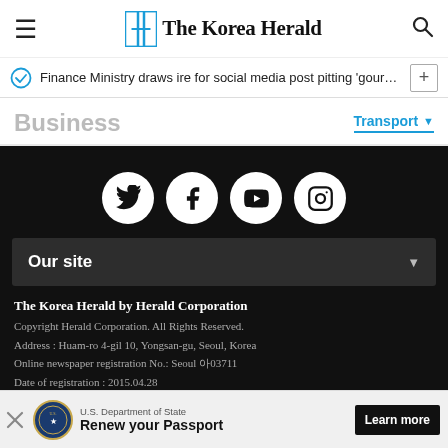The Korea Herald
Finance Ministry draws ire for social media post pitting 'gourmet …
Business
Transport
[Figure (logo): Social media icons: Twitter, Facebook, YouTube, Instagram in white circles on black background]
Our site
The Korea Herald by Herald Corporation
Copyright Herald Corporation. All Rights Reserved.
Address : Huam-ro 4-gil 10, Yongsan-gu, Seoul, Korea
Online newspaper registration No.: Seoul 아03711
Date of registration : 2015.04.28
Publisher, Editor : Jeon Chang-hyeop
Juvenile Protection Manager: Ahn Sung-mi
[Figure (infographic): U.S. Department of State advertisement: Renew your Passport - Learn more button]